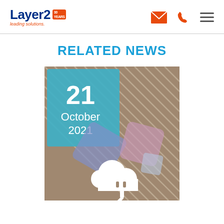[Figure (logo): Layer2 logo with '30 years' badge and 'leading solutions.' tagline in blue and orange]
[Figure (infographic): Navigation icons: orange envelope, orange phone, and grey hamburger menu]
RELATED NEWS
[Figure (illustration): News thumbnail image with date badge '21 October 2021' on teal/blue background, showing Microsoft Power BI diamond shapes and a cloud connector icon over striped background]